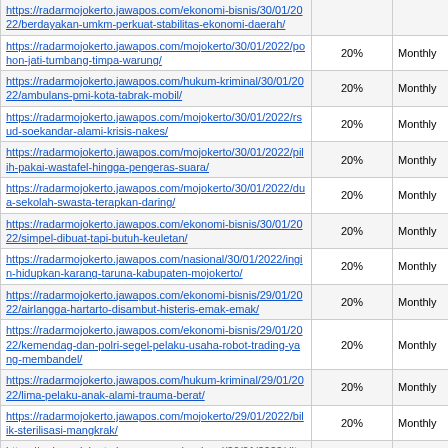| URL | Percentage | Frequency |
| --- | --- | --- |
| https://radarmojokerto.jawapos.com/ekonomi-bisnis/30/01/2022/berdayakan-umkm-perkuat-stabilitas-ekonomi-daerah/ | 20% | Monthly |
| https://radarmojokerto.jawapos.com/mojokerto/30/01/2022/pohon-jati-tumbang-timpa-warung/ | 20% | Monthly |
| https://radarmojokerto.jawapos.com/hukum-kriminal/30/01/2022/ambulans-pmi-kota-tabrak-mobil/ | 20% | Monthly |
| https://radarmojokerto.jawapos.com/mojokerto/30/01/2022/rsud-soekandar-alami-krisis-nakes/ | 20% | Monthly |
| https://radarmojokerto.jawapos.com/mojokerto/30/01/2022/pilih-pakai-wastafel-hingga-pengeras-suara/ | 20% | Monthly |
| https://radarmojokerto.jawapos.com/mojokerto/30/01/2022/dua-sekolah-swasta-terapkan-daring/ | 20% | Monthly |
| https://radarmojokerto.jawapos.com/ekonomi-bisnis/30/01/2022/simpel-dibuat-tapi-butuh-keuletan/ | 20% | Monthly |
| https://radarmojokerto.jawapos.com/nasional/30/01/2022/ingin-hidupkan-karang-taruna-kabupaten-mojokerto/ | 20% | Monthly |
| https://radarmojokerto.jawapos.com/ekonomi-bisnis/29/01/2022/airlangga-hartarto-disambut-histeris-emak-emak/ | 20% | Monthly |
| https://radarmojokerto.jawapos.com/ekonomi-bisnis/29/01/2022/kemendag-dan-polri-segel-pelaku-usaha-robot-trading-yang-membandel/ | 20% | Monthly |
| https://radarmojokerto.jawapos.com/hukum-kriminal/29/01/2022/lima-pelaku-anak-alami-trauma-berat/ | 20% | Monthly |
| https://radarmojokerto.jawapos.com/mojokerto/29/01/2022/bilik-sterilisasi-mangkrak/ | 20% | Monthly |
| https://radarmojokerto.jawapos.com/nasional/29/01/2022/ditarget-raih-medali/ | 20% | Monthly |
| https://radarmojokerto.jawapos.com/mojokerto/29/01/2022/rp-34-miliar-untuk-rumah-aman-anak/ | 20% | Monthly |
| https://radarmojokerto.jawapos.com/ekonomi-bisnis/29/01/2022/pemkot-segera-bangun-pasar-tematik/ | 20% | Monthly |
| https://radarmojokerto.jawapos.com/nasional/29/01/2022/inovasi-bikin-mewah-nan-lezat/ | 20% | Monthly |